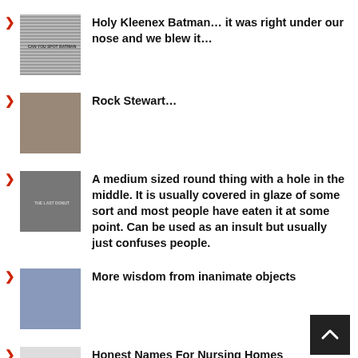Holy Kleenex Batman… it was right under our nose and we blew it…
Rock Stewart…
A medium sized round thing with a hole in the middle. It is usually covered in glaze of some sort and most people have eaten it at some point. Can be used as an insult but usually just confuses people.
More wisdom from inanimate objects
Honest Names For Nursing Homes